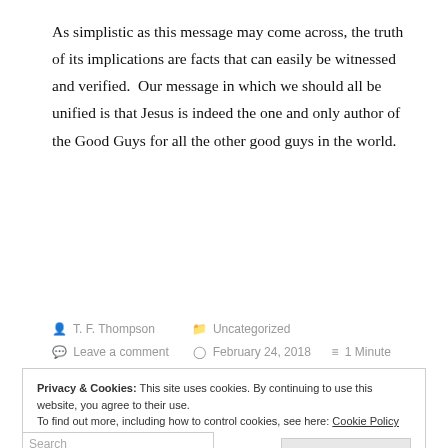As simplistic as this message may come across, the truth of its implications are facts that can easily be witnessed and verified.  Our message in which we should all be unified is that Jesus is indeed the one and only author of the Good Guys for all the other good guys in the world.
T. F. Thompson   Uncategorized   Leave a comment   February 24, 2018   1 Minute
Privacy & Cookies: This site uses cookies. By continuing to use this website, you agree to their use.
To find out more, including how to control cookies, see here: Cookie Policy
Close and accept